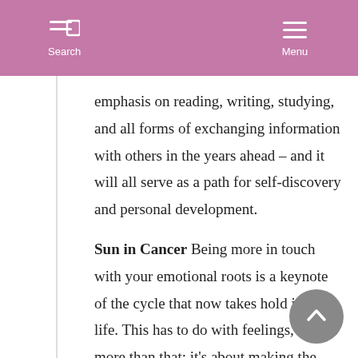Search  Menu
emphasis on reading, writing, studying, and all forms of exchanging information with others in the years ahead – and it will all serve as a path for self-discovery and personal development.
Sun in Cancer Being more in touch with your emotional roots is a keynote of the cycle that now takes hold in your life. This has to do with feelings, but it's more than that: it's about making the things you feel and care about a reality. At some levels, this means a greater focus on family life – parents, children, relatives, the whole domestic scene. On a somewhat broader scale, you're likely to find that